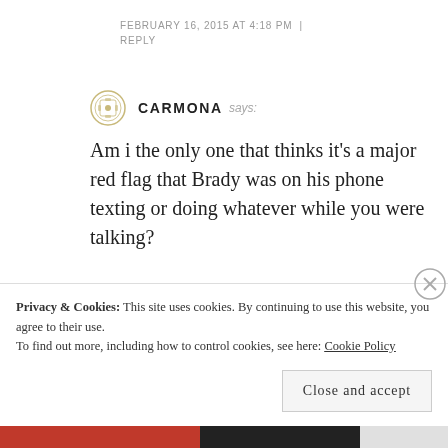FEBRUARY 16, 2015 AT 4:18 PM | REPLY
CARMONA says:
Am i the only one that thinks it’s a major red flag that Brady was on his phone texting or doing whatever while you were talking?
FEBRUARY 16, 2015 AT 4:07 PM | REPLY
Privacy & Cookies: This site uses cookies. By continuing to use this website, you agree to their use. To find out more, including how to control cookies, see here: Cookie Policy
Close and accept